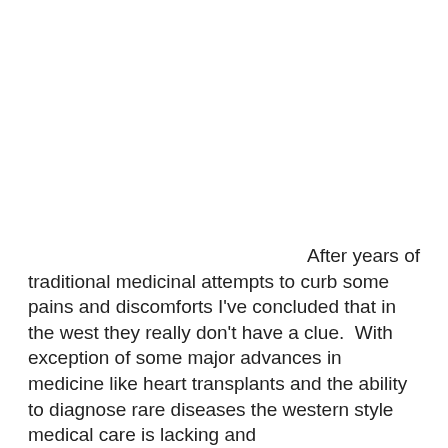After years of traditional medicinal attempts to curb some pains and discomforts I've concluded that in the west they really don't have a clue.  With exception of some major advances in medicine like heart transplants and the ability to diagnose rare diseases the western style medical care is lacking and